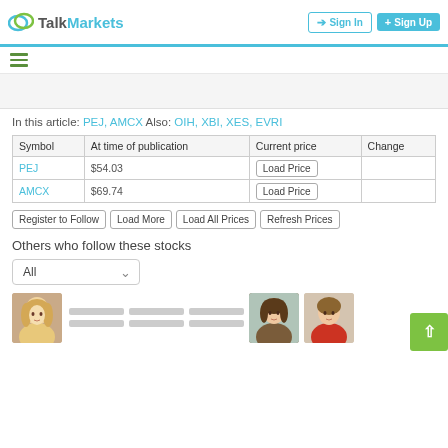TalkMarkets | Sign In | Sign Up
In this article: PEJ, AMCX Also: OIH, XBI, XES, EVRI
| Symbol | At time of publication | Current price | Change |
| --- | --- | --- | --- |
| PEJ | $54.03 | Load Price |  |
| AMCX | $69.74 | Load Price |  |
Register to Follow  Load More  Load All Prices  Refresh Prices
Others who follow these stocks
All (dropdown)
[Figure (photo): Row of user profile avatars/photos for followers of these stocks]